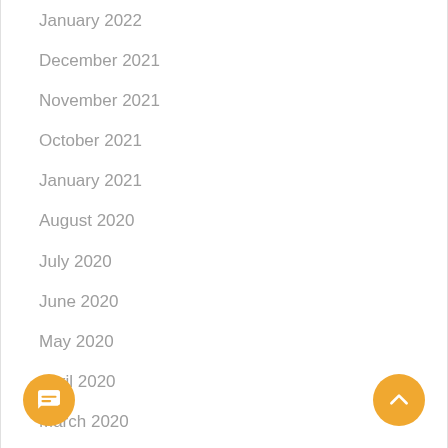January 2022
December 2021
November 2021
October 2021
January 2021
August 2020
July 2020
June 2020
May 2020
April 2020
March 2020
February 2020
January 2020